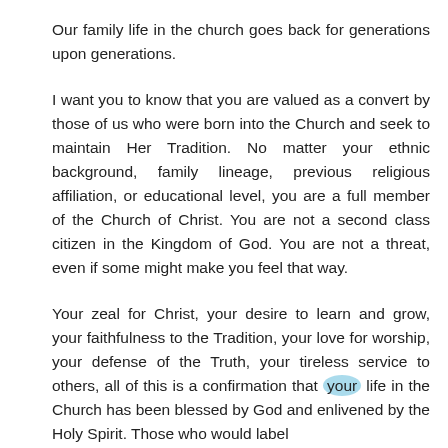Our family life in the church goes back for generations upon generations.
I want you to know that you are valued as a convert by those of us who were born into the Church and seek to maintain Her Tradition. No matter your ethnic background, family lineage, previous religious affiliation, or educational level, you are a full member of the Church of Christ. You are not a second class citizen in the Kingdom of God. You are not a threat, even if some might make you feel that way.
Your zeal for Christ, your desire to learn and grow, your faithfulness to the Tradition, your love for worship, your defense of the Truth, your tireless service to others, all of this is a confirmation that your life in the Church has been blessed by God and enlivened by the Holy Spirit. Those who would label